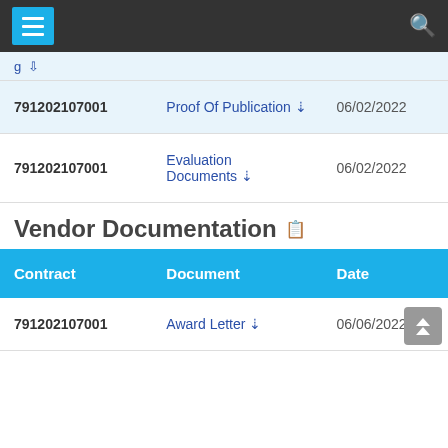Navigation bar with menu and search
| Contract | Document | Date |
| --- | --- | --- |
| 791202107001 | Proof Of Publication ↓ | 06/02/2022 |
| 791202107001 | Evaluation Documents ↓ | 06/02/2022 |
Vendor Documentation
| Contract | Document | Date |
| --- | --- | --- |
| 791202107001 | Award Letter ↓ | 06/06/2022 |